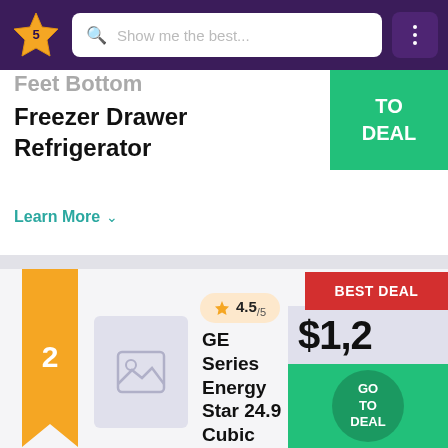[Figure (screenshot): Navigation header bar with star logo, search box showing 'Show me the best...', and a three-dot menu button on dark purple background]
Feet Bottom Freezer Drawer Refrigerator
Learn More
TO DEAL
[Figure (illustration): Orange bookmark ribbon with rank number 2]
[Figure (illustration): Product image placeholder showing mountain/image icon]
4.5/5
GE Series Energy Star 24.9 Cubic Feet Bottom Freezer Drawer
BEST DEAL
$1,2
GO TO DEAL